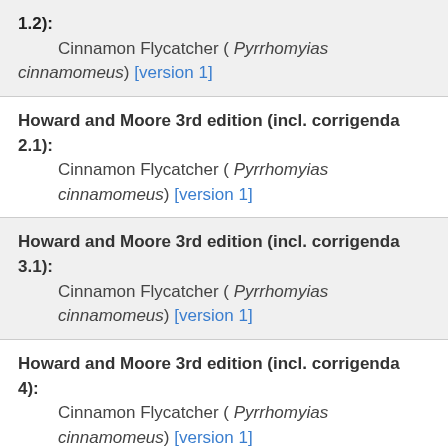1.2): Cinnamon Flycatcher ( Pyrrhomyias cinnamomeus) [version 1]
Howard and Moore 3rd edition (incl. corrigenda 2.1):
Cinnamon Flycatcher ( Pyrrhomyias cinnamomeus) [version 1]
Howard and Moore 3rd edition (incl. corrigenda 3.1):
Cinnamon Flycatcher ( Pyrrhomyias cinnamomeus) [version 1]
Howard and Moore 3rd edition (incl. corrigenda 4):
Cinnamon Flycatcher ( Pyrrhomyias cinnamomeus) [version 1]